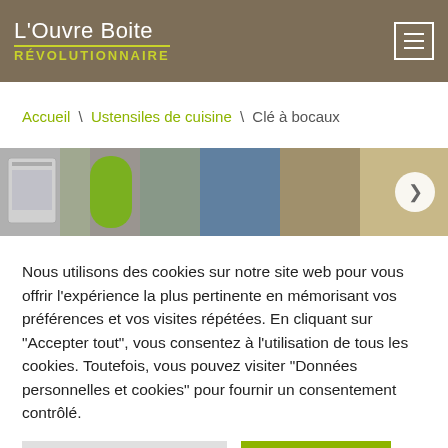L'Ouvre Boite RÉVOLUTIONNAIRE
Accueil \ Ustensiles de cuisine \ Clé à bocaux
[Figure (photo): Product photo showing kitchen utensils including what appears to be a jar opener, a green object, and a hand holding something, with a navigation arrow circle on the right.]
Nous utilisons des cookies sur notre site web pour vous offrir l'expérience la plus pertinente en mémorisant vos préférences et vos visites répétées. En cliquant sur "Accepter tout", vous consentez à l'utilisation de tous les cookies. Toutefois, vous pouvez visiter "Données personnelles et cookies" pour fournir un consentement contrôlé.
Paramètres des cookies
Tout accepter